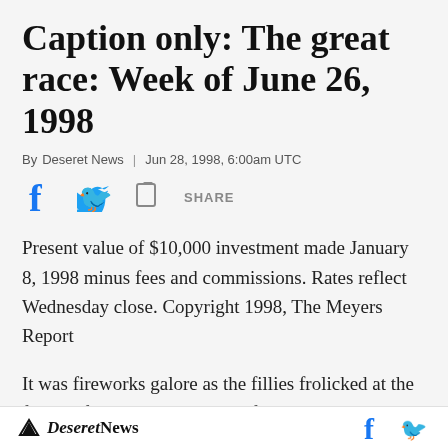Caption only: The great race: Week of June 26, 1998
By Deseret News | Jun 28, 1998, 6:00am UTC
Present value of $10,000 investment made January 8, 1998 minus fees and commissions. Rates reflect Wednesday close. Copyright 1998, The Meyers Report
It was fireworks galore as the fillies frolicked at the festival for the Fourth. Hopes for second-
Deseret News